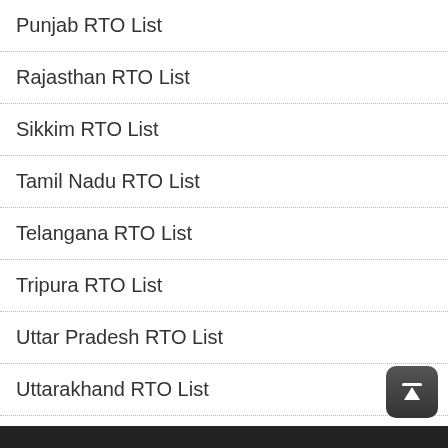Punjab RTO List
Rajasthan RTO List
Sikkim RTO List
Tamil Nadu RTO List
Telangana RTO List
Tripura RTO List
Uttar Pradesh RTO List
Uttarakhand RTO List
West Bengal RTO List
Service